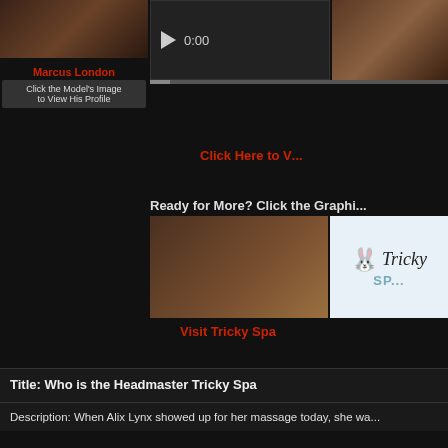[Figure (photo): Model photo thumbnail - Marcus London]
Marcus London
Click the Model's Image to View His Profile
[Figure (screenshot): Video player showing 0:00 timecode with play button]
[Figure (photo): Video thumbnail on right side]
Click Here to V...
Ready for More? Click the Graphi...
[Figure (photo): Promo image for Tricky Spa]
[Figure (logo): Tricky Spa logo]
Visit Tricky Spa
Title: Who is the Headmaster Tricky Spa
Description: When Alix Lynx showed up for her massage today, she wa...